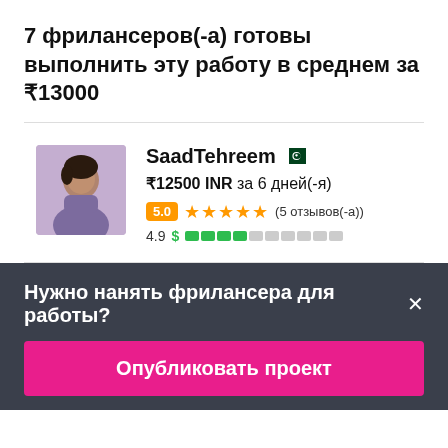7 фрилансеров(-а) готовы выполнить эту работу в среднем за ₹13000
SaadTehreem
₹12500 INR за 6 дней(-я)
5.0 ★★★★★ (5 отзывов(-а))
4.9
Нужно нанять фрилансера для работы?
Опубликовать проект